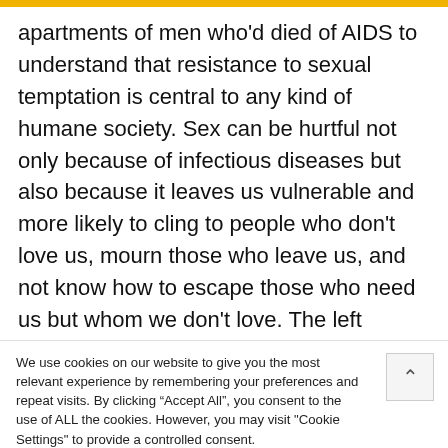apartments of men who'd died of AIDS to understand that resistance to sexual temptation is central to any kind of humane society. Sex can be hurtful not only because of infectious diseases but also because it leaves us vulnerable and more likely to cling to people who don't love us, mourn those who leave us, and not know how to escape those who need us but whom we don't love. The left understands none of that. That's why I am
We use cookies on our website to give you the most relevant experience by remembering your preferences and repeat visits. By clicking "Accept All", you consent to the use of ALL the cookies. However, you may visit "Cookie Settings" to provide a controlled consent.
1.3K SHARES